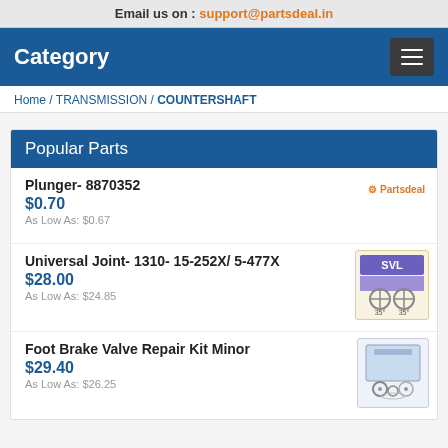Email us on : support@partsdeal.in
Category
Home / TRANSMISSION / COUNTERSHAFT
Popular Parts
Plunger- 8870352
$0.70
As Low As: $0.67
Universal Joint- 1310- 15-252X/ 5-477X
$28.00
As Low As: $24.85
Foot Brake Valve Repair Kit Minor
$29.40
As Low As: $26.25